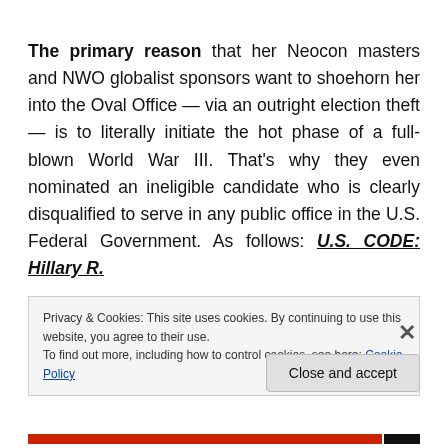The primary reason that her Neocon masters and NWO globalist sponsors want to shoehorn her into the Oval Office — via an outright election theft — is to literally initiate the hot phase of a full-blown World War III. That's why they even nominated an ineligible candidate who is clearly disqualified to serve in any public office in the U.S. Federal Government. As follows: U.S. CODE: Hillary R.
Privacy & Cookies: This site uses cookies. By continuing to use this website, you agree to their use. To find out more, including how to control cookies, see here: Cookie Policy
Close and accept